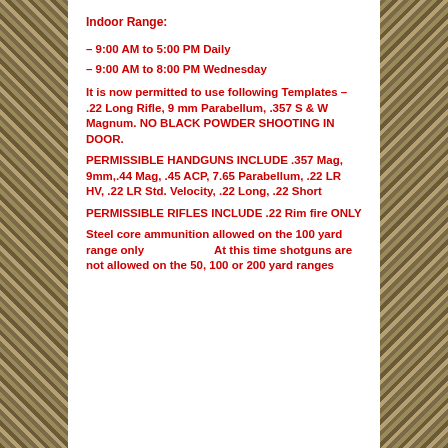Indoor Range:
– 9:00 AM to 5:00 PM Daily
– 9:00 AM to 8:00 PM Wednesday
It is now permitted to use following Templates – .22 Long Rifle, 9 mm Parabellum, .357 S & W Magnum. NO BLACK POWDER SHOOTING IN DOOR.
PERMISSIBLE HANDGUNS INCLUDE .357 Mag, 9mm,.44 Mag, .45 ACP, 7.65 Parabellum, .22 LR HV, .22 LR Std. Velocity, .22 Long, .22 Short
PERMISSIBLE RIFLES INCLUDE .22 Rim fire ONLY
Steel core ammunition allowed on the 100 yard range only                              At this time shotguns are not allowed on the 50, 100 or 200 yard ranges